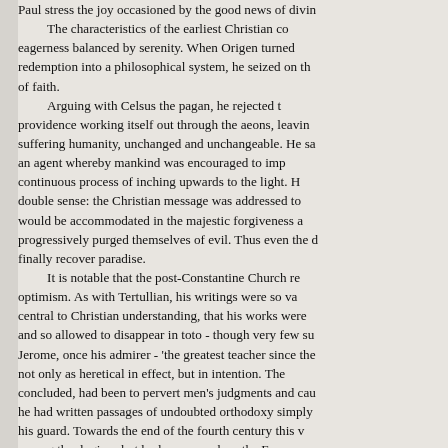Paul stress the joy occasioned by the good news of divine redemption into a philosophical system, he seized on the characteristics of the earliest Christian community: eagerness balanced by serenity. When Origen turned of faith. Arguing with Celsus the pagan, he rejected the providence working itself out through the aeons, leaving suffering humanity, unchanged and unchangeable. He saw an agent whereby mankind was encouraged to improve in a continuous process of inching upwards to the light. He used double sense: the Christian message was addressed to all and would be accommodated in the majestic forgiveness as they progressively purged themselves of evil. Thus even the devil might finally recover paradise. It is notable that the post-Constantine Church rejected his optimism. As with Tertullian, his writings were so vast and so central to Christian understanding, that his works were condemned and so allowed to disappear in toto - though very few survived. Jerome, once his admirer - 'the greatest teacher since the apostles' - not only as heretical in effect, but in intention. The purpose, he concluded, had been to pervert men's judgments and cause scandal; he had written passages of undoubted orthodoxy simply to lower his guard. Towards the end of the fourth century this was argued among theologians but by laymen such as the Emperor - a sign of intellectual climate?